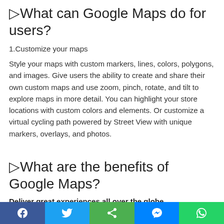▷What can Google Maps do for users?
1.Customize your maps
Style your maps with custom markers, lines, colors, polygons, and images. Give users the ability to create and share their own custom maps and use zoom, pinch, rotate, and tilt to explore maps in more detail. You can highlight your store locations with custom colors and elements. Or customize a virtual cycling path powered by Street View with unique markers, overlays, and photos.
▷What are the benefits of Google Maps?
Deliver great experiences all over the globe
Whether you're expanding your ridesharing operations into Australia or deploying a two-wheeler service in India, we've got